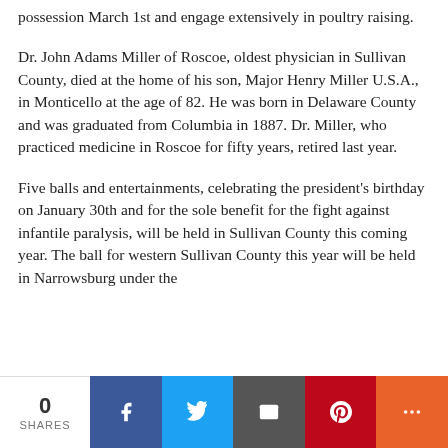possession March 1st and engage extensively in poultry raising.
Dr. John Adams Miller of Roscoe, oldest physician in Sullivan County, died at the home of his son, Major Henry Miller U.S.A., in Monticello at the age of 82. He was born in Delaware County and was graduated from Columbia in 1887. Dr. Miller, who practiced medicine in Roscoe for fifty years, retired last year.
Five balls and entertainments, celebrating the president's birthday on January 30th and for the sole benefit for the fight against infantile paralysis, will be held in Sullivan County this coming year. The ball for western Sullivan County this year will be held in Narrowsburg under the
0 SHARES [Facebook] [Twitter] [Email] [Pinterest] [More]